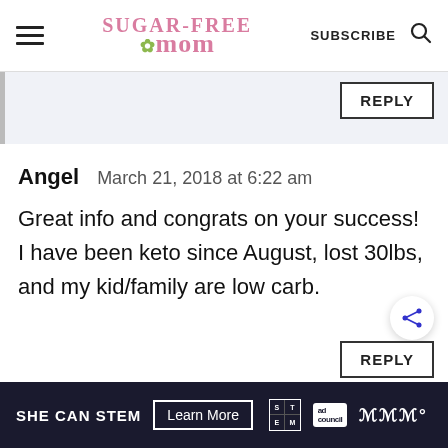Sugar-Free Mom | SUBSCRIBE
REPLY
Angel   March 21, 2018 at 6:22 am

Great info and congrats on your success! I have been keto since August, lost 30lbs, and my kid/family are low carb.
REPLY
SHE CAN STEM   Learn More